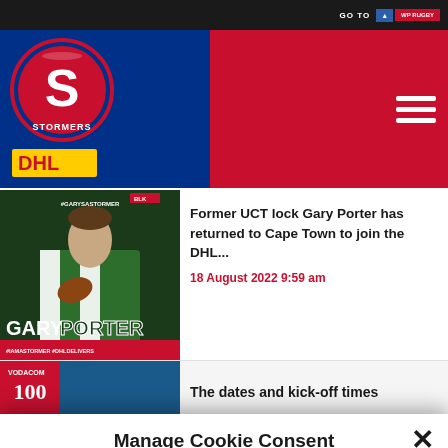[Figure (screenshot): Stormers rugby website header with logo, DHL sponsor logo in blue area, red section with hamburger menu, and GO TO navigation button]
[Figure (photo): Gary Porter rugby player promotional image with text #GARYSASTORMER, GARY PORTER, #IAMASTORMER #DHLDELIVERS]
Former UCT lock Gary Porter has returned to Cape Town to join the DHL...
18 August 2022 9:59 am
[Figure (photo): Second news article thumbnail image]
The dates and kick-off times
Manage Cookie Consent
We use cookies to optimize our website and our service.
Accept
Deny